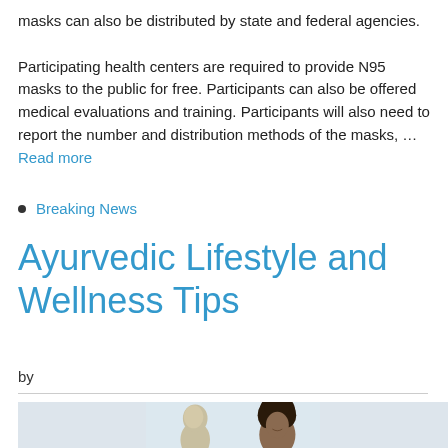masks can also be distributed by state and federal agencies.

Participating health centers are required to provide N95 masks to the public for free. Participants can also be offered medical evaluations and training. Participants will also need to report the number and distribution methods of the masks, … Read more
Breaking News
Ayurvedic Lifestyle and Wellness Tips
by
[Figure (photo): Photo of two people: a person with blonde hair seen from behind/side and a smiling woman with curly dark hair, against a light grey background]